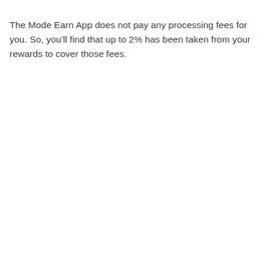The Mode Earn App does not pay any processing fees for you. So, you'll find that up to 2% has been taken from your rewards to cover those fees.